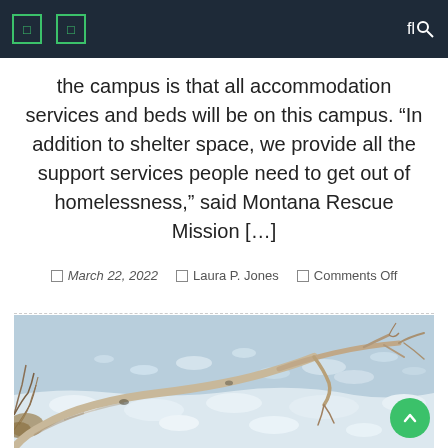Navigation bar with menu icons and search
the campus is that all accommodation services and beds will be on this campus. “In addition to shelter space, we provide all the support services people need to get out of homelessness,” said Montana Rescue Mission […]
March 22, 2022   Laura P. Jones   Comments Off
[Figure (photo): Winter outdoor scene with a fallen bare tree branch arching over a snow-covered frozen landscape with scattered snow lumps, dry grass in the foreground, and blue-grey icy water or snow in the background.]
Scroll to top button (green circular FAB)